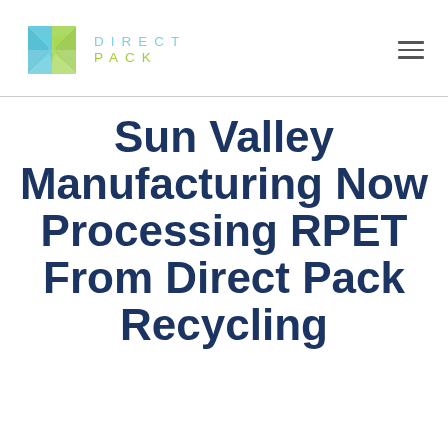[Figure (logo): Direct Pack logo with geometric blue/green diamond shape icon and text DIRECT PACK in light blue and green colors]
Sun Valley Manufacturing Now Processing RPET From Direct Pack Recycling